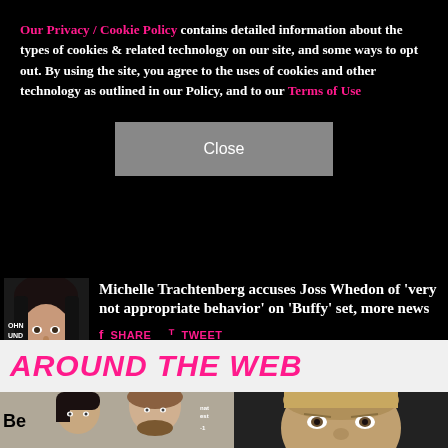Our Privacy / Cookie Policy contains detailed information about the types of cookies & related technology on our site, and some ways to opt out. By using the site, you agree to the uses of cookies and other technology as outlined in our Policy, and to our Terms of Use
Close
Michelle Trachtenberg accuses Joss Whedon of 'very not appropriate behavior' on 'Buffy' set, more news
SHARE   TWEET
AROUND THE WEB
[Figure (photo): Two people at an event, partial text 'Be' visible at left edge]
[Figure (photo): Close-up of a man's face against dark background]